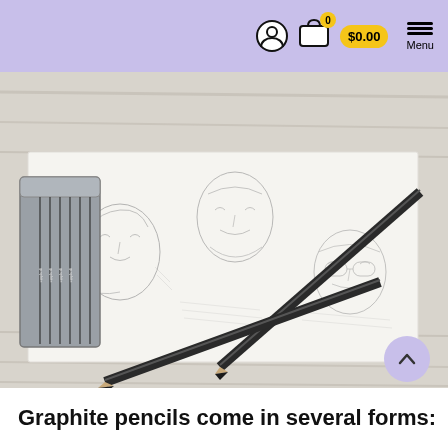0  $0.00  Menu
[Figure (photo): Photo showing graphite pencil sketches of people's faces on white paper, with a tin case of graphite pencils and two black graphite pencils resting on top, on a wooden surface.]
Graphite pencils come in several forms: